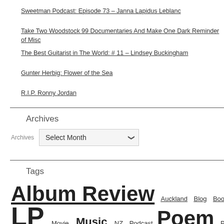Sweetman Podcast: Episode 73 – Janna Lapidus Leblanc
Take Two Woodstock 99 Documentaries And Make One Dark Reminder of Misc…
The Best Guitarist in The World: # 11 – Lindsey Buckingham
Gunter Herbig: Flower of the Sea
R.I.P. Ronny Jordan
Archives
Archives  Select Month
Tags
Album Review  Auckland  Blog  Book  Book Review  Chat  Co…
LP  Movie  Music  NZ  Podcast  Poem  Poetry  Record  Records  S…